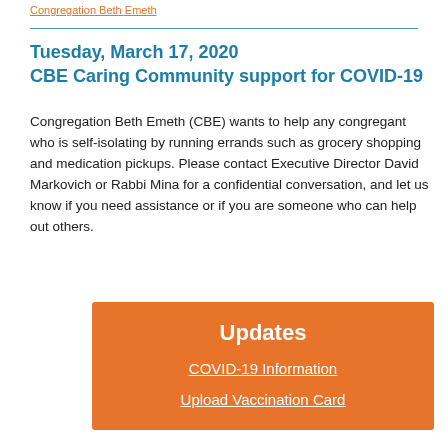Congregation Beth Emeth (link)
Tuesday, March 17, 2020
CBE Caring Community support for COVID-19
Congregation Beth Emeth (CBE) wants to help any congregant who is self-isolating by running errands such as grocery shopping and medication pickups. Please contact Executive Director David Markovich or Rabbi Mina for a confidential conversation, and let us know if you need assistance or if you are someone who can help out others.
Updates
COVID-19 Information
Upload Vaccination Card